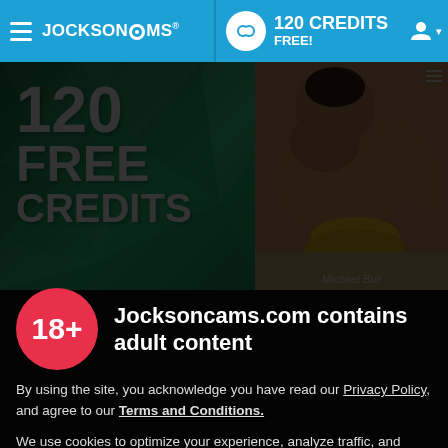JOCKSONCAMS — 120 CREDITS FREE!
[Figure (screenshot): Hero banner with '120 FREE CREDITS' text on green geometric background on the left, and a photo of a male model on the right. Name 'Michael Bull' shown at bottom.]
Jocksoncams.com contains adult content
By using the site, you acknowledge you have read our Privacy Policy, and agree to our Terms and Conditions.
We use cookies to optimize your experience, analyze traffic, and deliver more personalized service. To learn more, please see our Privacy Policy.
I AGREE